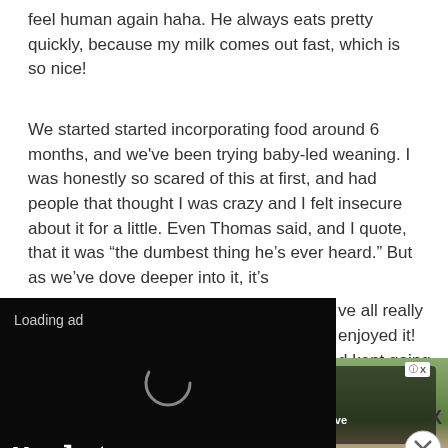feel human again haha. He always eats pretty quickly, because my milk comes out fast, which is so nice!
We started started incorporating food around 6 months, and we've been trying baby-led weaning. I was honestly so scared of this at first, and had people that thought I was crazy and I felt insecure about it for a little. Even Thomas said, and I quote, that it was “the dumbest thing he’s ever heard.” But as we’ve dove deeper into it, it’s ...ve all really enjoyed it! ...d kept going with it! If ... skipping purees and ...u basically let you ...what you eat. I was
[Figure (screenshot): Video ad overlay showing black background with 'Loading ad' text, a spinner/loading circle, playback controls (pause, expand, mute), and partial close button]
[Figure (screenshot): Bottom advertisement banner showing a mobile game ad with trees background and 'Hold and Move' text with an icon]